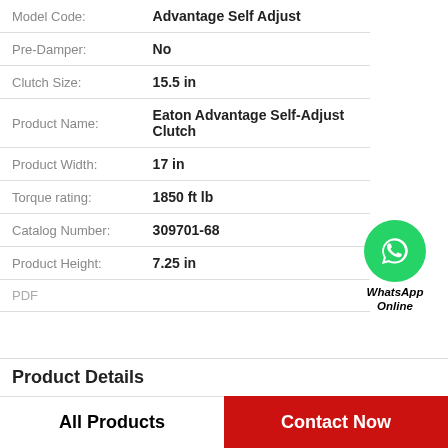| Field | Value |
| --- | --- |
| Model Code: | Advantage Self Adjust |
| Pre-Damper: | No |
| Clutch Size: | 15.5 in |
| Product Name: | Eaton Advantage Self-Adjust Clutch |
| Product Width: | 17 in |
| Torque rating: | 1850 ft lb |
| Catalog Number: | 309701-68 |
| Product Height: | 7.25 in |
| PDF |  |
[Figure (logo): WhatsApp Online green circle icon with phone handset, labeled WhatsApp Online in bold italic]
Product Details
All Products
Contact Now